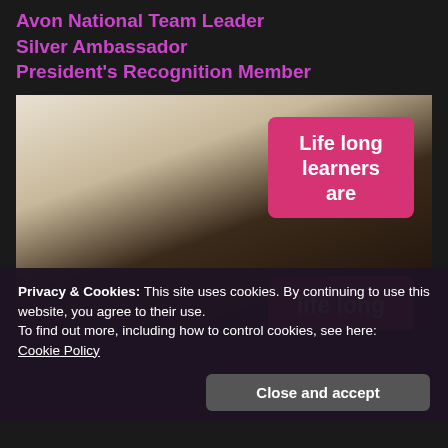Avon National Team Leader
Silver Ambassador
President's Recognition Member
[Figure (photo): Back of a woman's head with dark hair and sunglasses on top, overlaid with two pink/magenta boxes with white text reading 'Life long learners are' and 'life long']
Privacy & Cookies: This site uses cookies. By continuing to use this website, you agree to their use.
To find out more, including how to control cookies, see here:
Cookie Policy
Close and accept